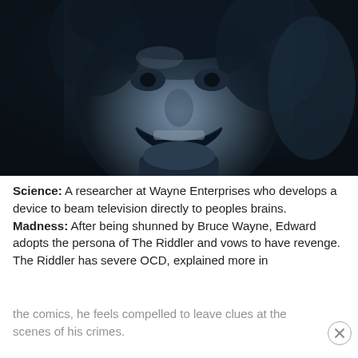[Figure (photo): A dark, blue-tinted black and white close-up photograph of a person's face (resembling The Riddler character) with a wide grin, dark curly hair, wearing a collar.]
Science: A researcher at Wayne Enterprises who develops a device to beam television directly to peoples brains.
Madness: After being shunned by Bruce Wayne, Edward adopts the persona of The Riddler and vows to have revenge. The Riddler has severe OCD, explained more in the comics, he feels compelled to leave clues at the scenes of his crimes.